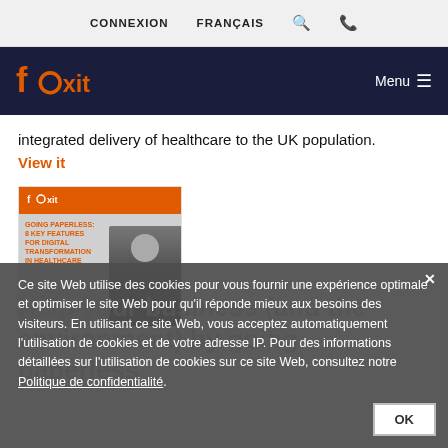CONNEXION   FRANÇAIS   🔍   📞
[Figure (logo): Foxit logo on dark navy header bar with Menu button]
integrated delivery of healthcare to the UK population.
View it
[Figure (illustration): Foxit brochure cover titled 'GOING PAPERLESS: 8 KEY FEATURES FOR DIGITAL TRANSFORMATION IN HEALTHCARE' with orange header and person photo]
Ce site Web utilise des cookies pour vous fournir une expérience optimale et optimiser le site Web pour qu'il réponde mieux aux besoins des visiteurs. En utilisant ce site Web, vous acceptez automatiquement l'utilisation de cookies et de votre adresse IP. Pour des informations détaillées sur l'utilisation de cookies sur ce site Web, consultez notre Politique de confidentialité.
Help your business (and the environment) by going paperless